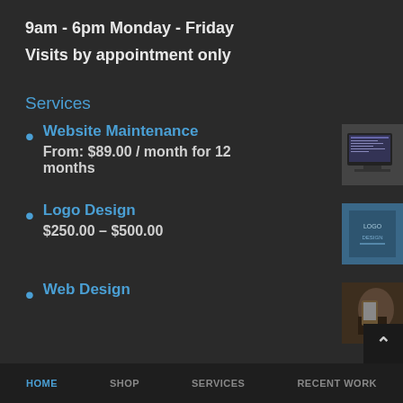9am - 6pm Monday - Friday
Visits by appointment only
Services
Website Maintenance
From: $89.00 / month for 12 months
[Figure (photo): Thumbnail image of a computer monitor with code/website content]
Logo Design
$250.00 – $500.00
[Figure (photo): Thumbnail image of a logo design sample on blue background]
Web Design
[Figure (photo): Thumbnail image related to web design, person at keyboard]
HOME    SHOP    SERVICES    RECENT WORK